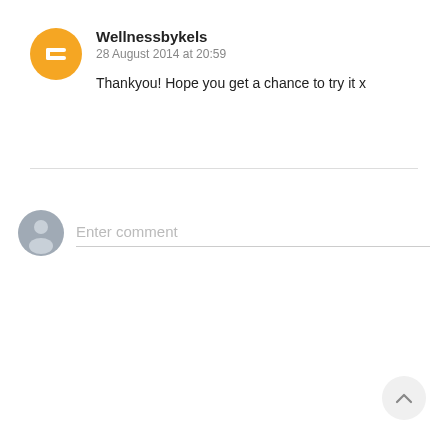[Figure (illustration): Blogger user avatar — orange circle with white letter B inside]
Wellnessbykels
28 August 2014 at 20:59
Thankyou! Hope you get a chance to try it x
[Figure (illustration): Generic user avatar — grey circle with silhouette person icon]
Enter comment
[Figure (illustration): Scroll-to-top button — light grey circle with upward chevron]